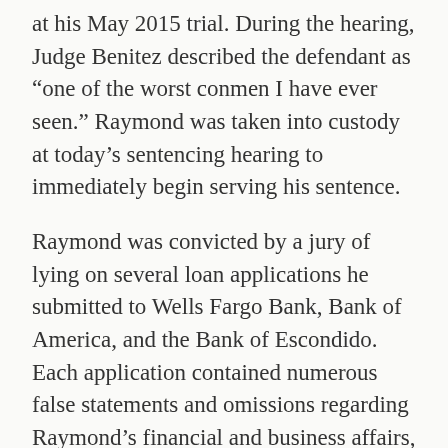at his May 2015 trial. During the hearing, Judge Benitez described the defendant as "one of the worst conmen I have ever seen." Raymond was taken into custody at today's sentencing hearing to immediately begin serving his sentence.
Raymond was convicted by a jury of lying on several loan applications he submitted to Wells Fargo Bank, Bank of America, and the Bank of Escondido. Each application contained numerous false statements and omissions regarding Raymond's financial and business affairs, criminal history, and other aspects of his creditworthiness. Evidence presented at trial established that Raymond was able to trick the banks into believing that he was a good candidate for the loans by strategically using a